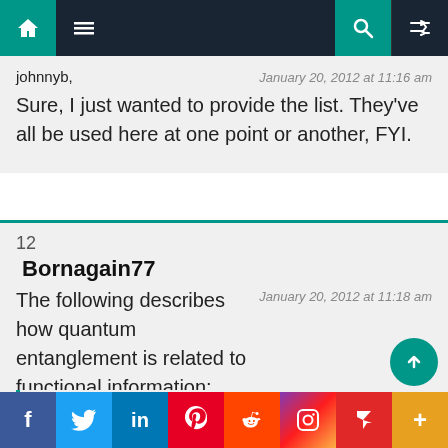Navigation bar with home, menu, search, and shuffle icons
johnnyb,
January 20, 2012 at 11:16 am
Sure, I just wanted to provide the list. They've all be used here at one point or another, FYI.
12
Bornagain77
January 20, 2012 at 11:18 am
The following describes how quantum entanglement is related to functional information:
Quantum Entanglement and Information
Excerpt: A pair of quantum systems in an entangled
Social share bar: Facebook, Twitter, LinkedIn, Pinterest, Reddit, Instagram, Flipboard, More